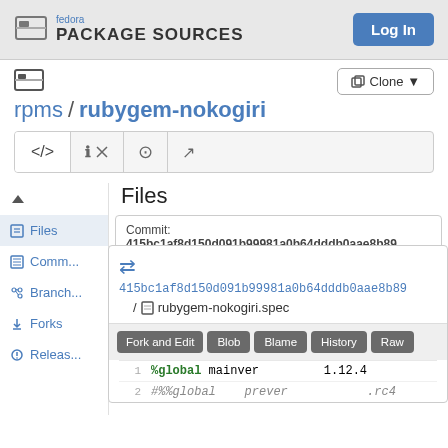fedora PACKAGE SOURCES
rpms / rubygem-nokogiri
Files
Commit: 415bc1af8d150d091b99981a0b64dddb0aae8b89
415bc1af8d150d091b99981a0b64dddb0aae8b89 / rubygem-nokogiri.spec
Fork and Edit  Blob  Blame  History  Raw
1  %global mainver         1.12.4
2  #%%global prever         .rc4